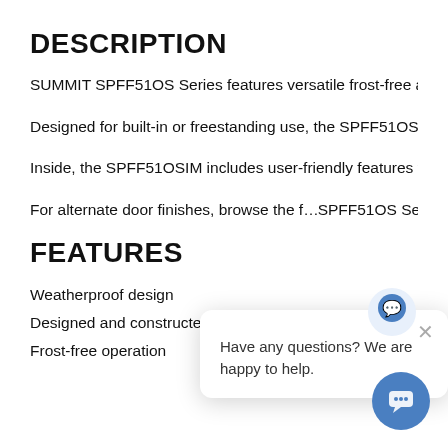DESCRIPTION
SUMMIT SPFF51OS Series features versatile frost-free all-fre
Designed for built-in or freestanding use, the SPFF51OSIM c
Inside, the SPFF51OSIM includes user-friendly features for lo
For alternate door finishes, browse the f…SPFF51OS Series
FEATURES
Weatherproof design
Designed and constructed for use in the outdoors
Frost-free operation
[Figure (screenshot): Chat widget overlay with icon and text 'Have any questions? We are happy to help.' with close button, and a circular blue chat button in the bottom right corner.]